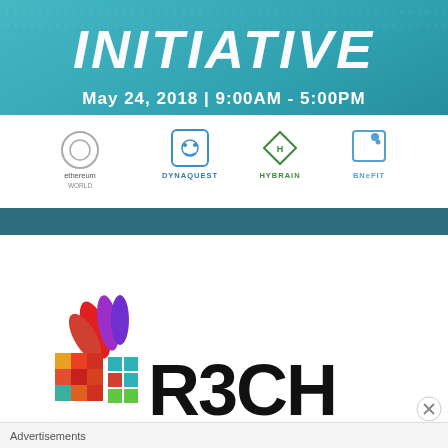[Figure (infographic): Event banner with teal gradient background showing 'INITIATIVE' in large italic bold white text, date 'May 24, 2018 | 9:00AM - 5:00PM' below, then a white logo strip with four sponsor logos: ethereum WORLD, DYNAQUEST, HYBRAIN, BNeFIT, followed by a dark teal bar at the bottom of the banner.]
[Figure (logo): Partial R3CH logo at bottom of page: colorful mosaic/feather icon on the left with large bold black 'R3CH' text partially visible, cut off at page bottom.]
Advertisements